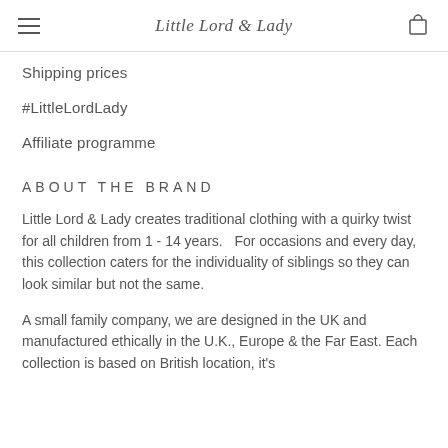Little Lord & Lady
Shipping prices
#LittleLordLady
Affiliate programme
ABOUT THE BRAND
Little Lord & Lady creates traditional clothing with a quirky twist for all children from 1 - 14 years.   For occasions and every day, this collection caters for the individuality of siblings so they can look similar but not the same.
A small family company, we are designed in the UK and manufactured ethically in the U.K., Europe & the Far East. Each collection is based on British location, it's